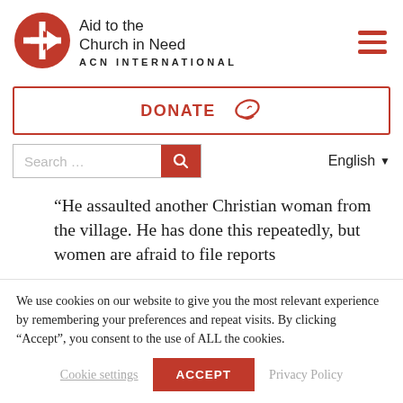[Figure (logo): Aid to the Church in Need (ACN International) logo with red circle and cross/arrow symbol]
Aid to the Church in Need
ACN INTERNATIONAL
[Figure (other): Hamburger menu icon (three red horizontal bars)]
DONATE
[Figure (other): Donate button with leaf/hand icon]
Search …
English
“He assaulted another Christian woman from the village. He has done this repeatedly, but women are afraid to file reports
We use cookies on our website to give you the most relevant experience by remembering your preferences and repeat visits. By clicking “Accept”, you consent to the use of ALL the cookies.
Cookie settings
ACCEPT
Privacy Policy